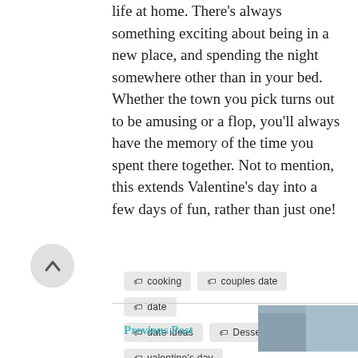life at home. There's always something exciting about being in a new place, and spending the night somewhere other than in your bed. Whether the town you pick turns out to be amusing or a flop, you'll always have the memory of the time you spent there together. Not to mention, this extends Valentine's day into a few days of fun, rather than just one!
cooking
couples date
date
date ideas
Dessert
ski
valentine's day
Previous Post   Next